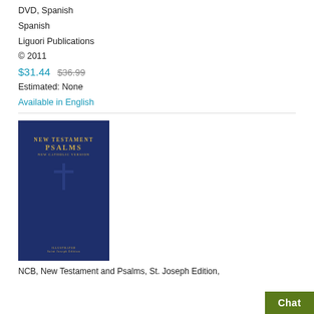DVD, Spanish
Spanish
Liguori Publications
© 2011
$31.44  $36.99
Estimated: None
Available in English
[Figure (photo): Book cover of NCB New Testament and Psalms, St. Joseph Edition — navy blue cover with gold lettering and a cross]
NCB, New Testament and Psalms, St. Joseph Edition,